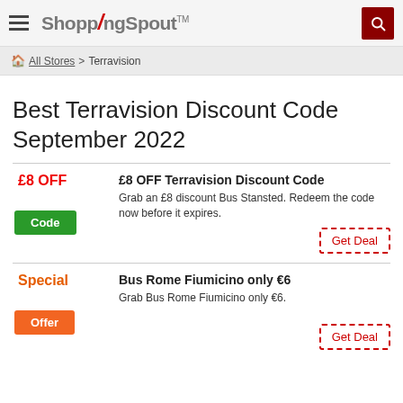ShoppingSpout™
All Stores > Terravision
Best Terravision Discount Code September 2022
£8 OFF Terravision Discount Code
Grab an £8 discount Bus Stansted. Redeem the code now before it expires.
Code
Get Deal
Bus Rome Fiumicino only €6
Grab Bus Rome Fiumicino only €6.
Offer
Get Deal